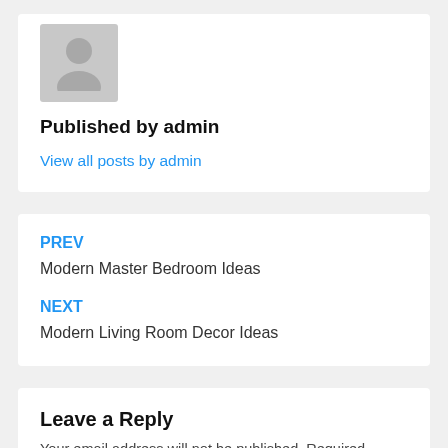[Figure (illustration): Gray avatar placeholder image showing a generic person silhouette on a light gray background]
Published by admin
View all posts by admin
PREV
Modern Master Bedroom Ideas
NEXT
Modern Living Room Decor Ideas
Leave a Reply
Your email address will not be published. Required